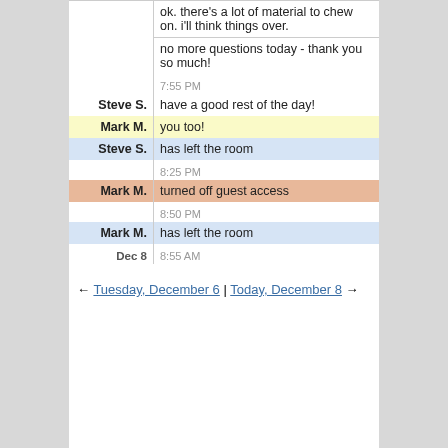|  | ok. there's a lot of material to chew on. i'll think things over. |
|  | no more questions today - thank you so much! |
|  | 7:55 PM |
| Steve S. | have a good rest of the day! |
| Mark M. | you too! |
| Steve S. | has left the room |
|  | 8:25 PM |
| Mark M. | turned off guest access |
|  | 8:50 PM |
| Mark M. | has left the room |
| Dec 8 | 8:55 AM |
← Tuesday, December 6 | Today, December 8 →